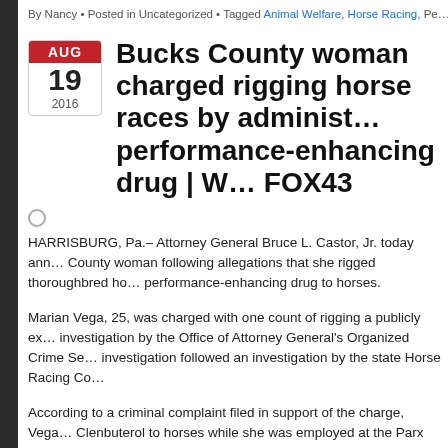By Nancy • Posted in Uncategorized • Tagged Animal Welfare, Horse Racing, Pe…
Bucks County woman charged rigging horse races by administering performance-enhancing drug | W… FOX43
HARRISBURG, Pa.– Attorney General Bruce L. Castor, Jr. today announced charges against a Bucks County woman following allegations that she rigged thoroughbred horse races by administering a performance-enhancing drug to horses.
Marian Vega, 25, was charged with one count of rigging a publicly exhibited contest. The charges follow an investigation by the Office of Attorney General's Organized Crime Section. The investigation followed an investigation by the state Horse Racing Co…
According to a criminal complaint filed in support of the charge, Vega allegedly administered Clenbuterol to horses while she was employed at the Parx Casino and Racing in Bensalem, Bucks County.